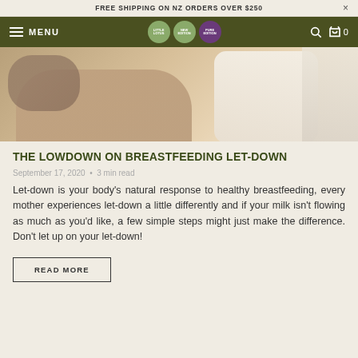FREE SHIPPING ON NZ ORDERS OVER $250
MENU
[Figure (photo): Photo of a person breastfeeding a baby, lying on a couch with cushions and a blanket]
THE LOWDOWN ON BREASTFEEDING LET-DOWN
September 17, 2020 • 3 min read
Let-down is your body's natural response to healthy breastfeeding, every mother experiences let-down a little differently and if your milk isn't flowing as much as you'd like, a few simple steps might just make the difference. Don't let up on your let-down!
READ MORE